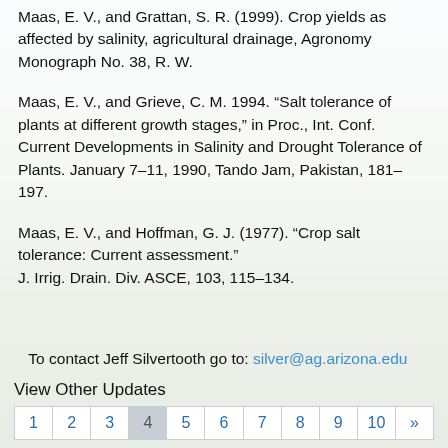Maas, E. V., and Grattan, S. R. (1999). Crop yields as affected by salinity, agricultural drainage, Agronomy Monograph No. 38, R. W.
Maas, E. V., and Grieve, C. M. 1994. “Salt tolerance of plants at different growth stages,” in Proc., Int. Conf. Current Developments in Salinity and Drought Tolerance of Plants. January 7–11, 1990, Tando Jam, Pakistan, 181–197.
Maas, E. V., and Hoffman, G. J. (1977). “Crop salt tolerance: Current assessment.” J. Irrig. Drain. Div. ASCE, 103, 115–134.
To contact Jeff Silvertooth go to: silver@ag.arizona.edu
View Other Updates
| 1 | 2 | 3 | 4 | 5 | 6 | 7 | 8 | 9 | 10 | » |
| --- | --- | --- | --- | --- | --- | --- | --- | --- | --- | --- |
|  |